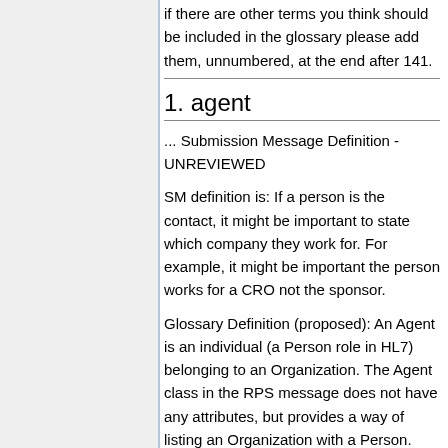if there are other terms you think should be included in the glossary please add them, unnumbered, at the end after 141.
1. agent
... Submission Message Definition - UNREVIEWED
SM definition is: If a person is the contact, it might be important to state which company they work for. For example, it might be important the person works for a CRO not the sponsor.
Glossary Definition (proposed): An Agent is an individual (a Person role in HL7) belonging to an Organization. The Agent class in the RPS message does not have any attributes, but provides a way of listing an Organization with a Person.